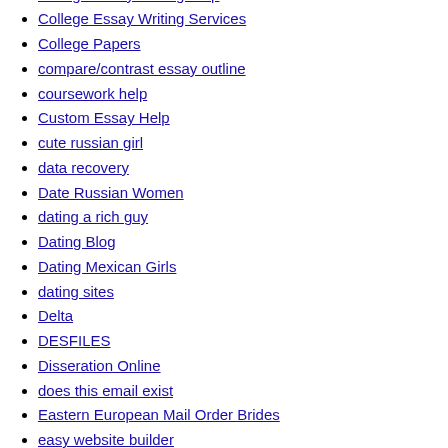College Essay Writing Help
College Essay Writing Services
College Papers
compare/contrast essay outline
coursework help
Custom Essay Help
cute russian girl
data recovery
Date Russian Women
dating a rich guy
Dating Blog
Dating Mexican Girls
dating sites
Delta
DESFILES
Disseration Online
does this email exist
Eastern European Mail Order Brides
easy website builder
Edusson
email verifier
email verify
Essay Writers
Essay Writing Service
Essay Writing Services